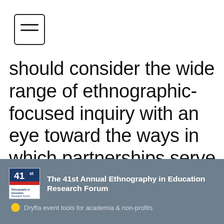[Figure (other): Hamburger menu icon — square bordered button with two horizontal lines]
should consider the wide range of ethnographic-focused inquiry with an eye toward the ways in which partnerships serve as conceptual and methodological assets that help us imagine possibilities to effect educational and social change.
The 41st Annual Ethnography in Education Research Forum · Dryfta event tools for academia & non-profits